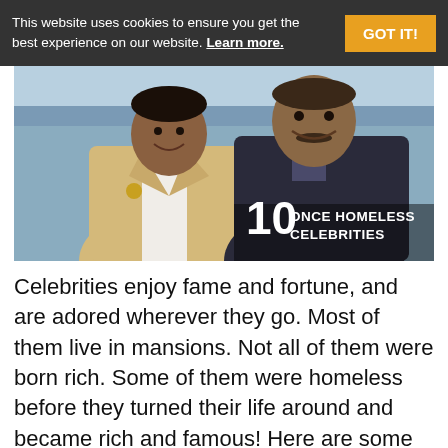This website uses cookies to ensure you get the best experience on our website. Learn more. GOT IT!
[Figure (photo): Two well-dressed men smiling, with text overlay reading '10 ONCE HOMELESS CELEBRITIES']
Celebrities enjoy fame and fortune, and are adored wherever they go. Most of them live in mansions. Not all of them were born rich. Some of them were homeless before they turned their life around and became rich and famous! Here are some ten rich and famous people who were once homeless. Jim